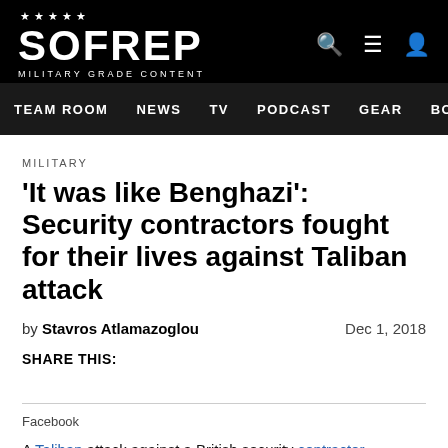SOFREP — MILITARY GRADE CONTENT
TEAM ROOM  NEWS  TV  PODCAST  GEAR  BOOKS
MILITARY
'It was like Benghazi': Security contractors fought for their lives against Taliban attack
by Stavros Atlamazoglou   Dec 1, 2018
SHARE THIS:
Facebook
A Taliban attack against a British security contractor